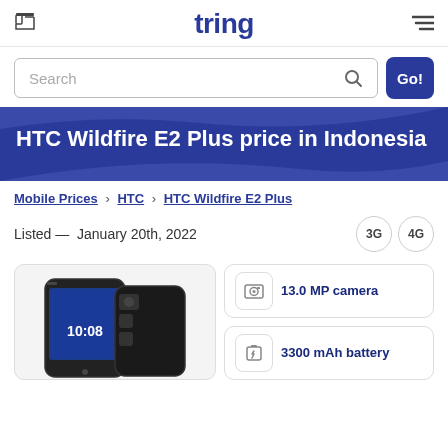tring
Search
HTC Wildfire E2 Plus price in Indonesia
Mobile Prices › HTC › HTC Wildfire E2 Plus
Listed — January 20th, 2022
[Figure (photo): HTC Wildfire E2 Plus smartphone photo showing front and back]
13.0 MP camera
3300 mAh battery